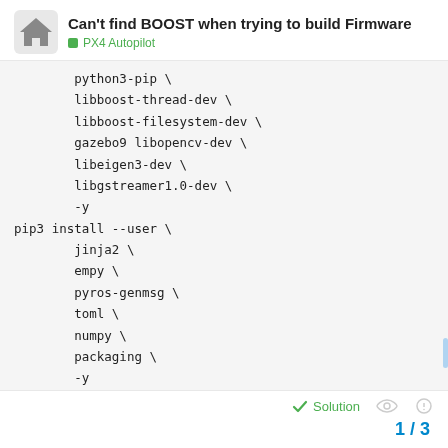Can't find BOOST when trying to build Firmware — PX4 Autopilot
python3-pip \
        libboost-thread-dev \
        libboost-filesystem-dev \
        gazebo9 libopencv-dev \
        libeigen3-dev \
        libgstreamer1.0-dev \
        -y
pip3 install --user \
        jinja2 \
        empy \
        pyros-genmsg \
        toml \
        numpy \
        packaging \
        -y
Solution   1 / 3